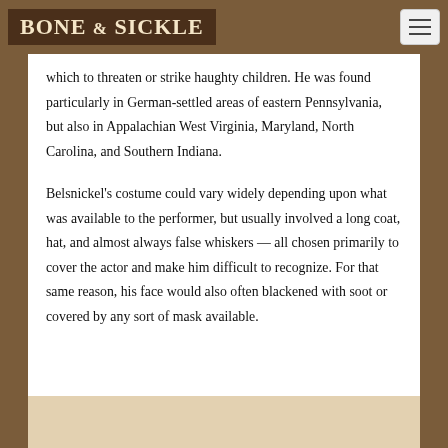BONE & SICKLE
which to threaten or strike haughty children. He was found particularly in German-settled areas of eastern Pennsylvania, but also in Appalachian West Virginia, Maryland, North Carolina, and Southern Indiana.
Belsnickel's costume could vary widely depending upon what was available to the performer, but usually involved a long coat, hat, and almost always false whiskers — all chosen primarily to cover the actor and make him difficult to recognize. For that same reason, his face would also often blackened with soot or covered by any sort of mask available.
[Figure (photo): Partial image visible at bottom of page, beige/tan colored background, appears to be a historical illustration or photograph]